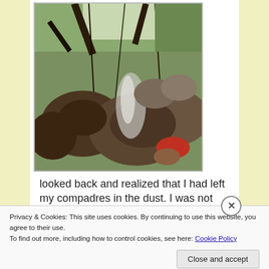[Figure (photo): Outdoor forest/jungle scene with rocks, tree branches, vines, waterfall visible in background, person's hand reaching into frame wearing red sleeve]
looked back and realized that I had left my compadres in the dust. I was not alone though. The place was
Privacy & Cookies: This site uses cookies. By continuing to use this website, you agree to their use.
To find out more, including how to control cookies, see here: Cookie Policy
Close and accept